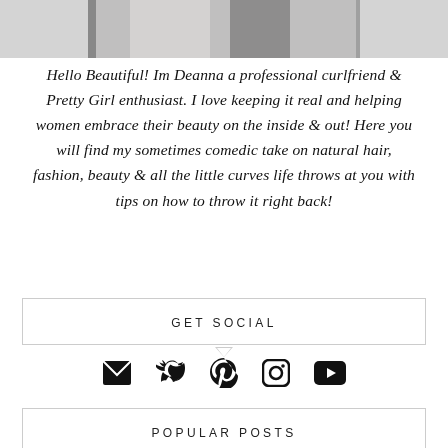[Figure (photo): Partial photo of a person wearing white top and dark bottom, cropped at top of page]
Hello Beautiful! Im Deanna a professional curlfriend & Pretty Girl enthusiast. I love keeping it real and helping women embrace their beauty on the inside & out! Here you will find my sometimes comedic take on natural hair, fashion, beauty & all the little curves life throws at you with tips on how to throw it right back!
GET SOCIAL
[Figure (infographic): Row of five social media icons: email envelope, Twitter bird, Pinterest P, Instagram camera, YouTube play button]
POPULAR POSTS